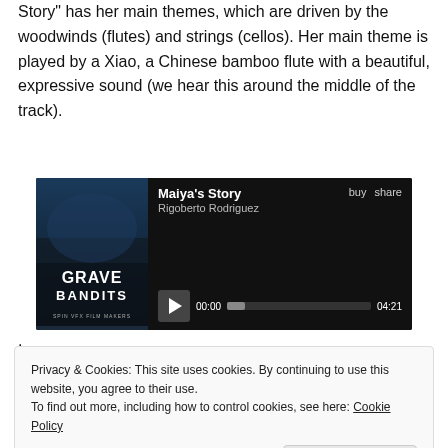Story" has her main themes, which are driven by the woodwinds (flutes) and strings (cellos). Her main theme is played by a Xiao, a Chinese bamboo flute with a beautiful, expressive sound (we hear this around the middle of the track).
[Figure (screenshot): Music player widget showing 'Maiya's Story' by Rigoberto Rodriguez from Grave Bandits, with play button, time 00:00 / 04:21, and buy/share options]
.
Privacy & Cookies: This site uses cookies. By continuing to use this website, you agree to their use.
To find out more, including how to control cookies, see here: Cookie Policy
Close and accept